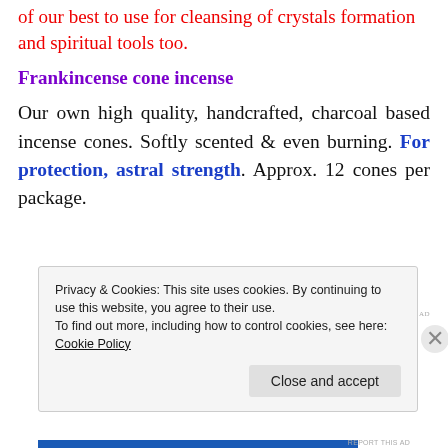of our best to use for cleansing of crystals formation and spiritual tools too.
Frankincense cone incense
Our own high quality, handcrafted, charcoal based incense cones. Softly scented & even burning. For protection, astral strength. Approx. 12 cones per package.
REPORT THIS AD
Privacy & Cookies: This site uses cookies. By continuing to use this website, you agree to their use.
To find out more, including how to control cookies, see here: Cookie Policy
Close and accept